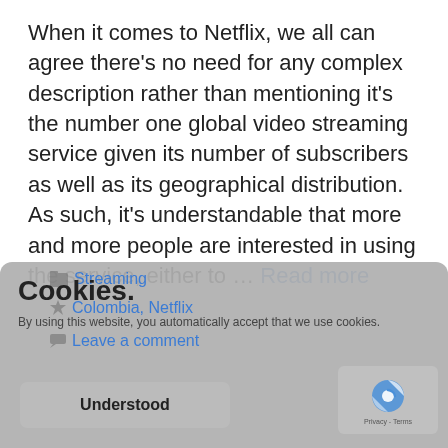When it comes to Netflix, we all can agree there's no need for any complex description rather than mentioning it's the number one global video streaming service given its number of subscribers as well as its geographical distribution. As such, it's understandable that more and more people are interested in using the service, either to … Read more
Cookies. By using this website, you automatically accept that we use cookies.
Streaming
Colombia, Netflix
Leave a comment
Understood